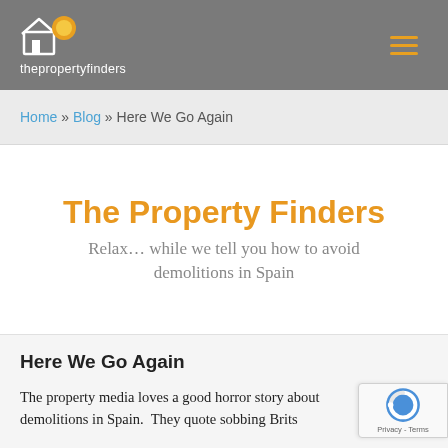thepropertyfinders
Home » Blog » Here We Go Again
The Property Finders
Relax… while we tell you how to avoid demolitions in Spain
Here We Go Again
The property media loves a good horror story about demolitions in Spain. They quote sobbing Brits